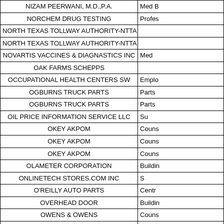| Vendor | Category |
| --- | --- |
| NIZAM PEERWANI, M.D.,P.A. | Med B |
| NORCHEM DRUG TESTING | Profes |
| NORTH TEXAS TOLLWAY AUTHORITY-NTTA |  |
| NORTH TEXAS TOLLWAY AUTHORITY-NTTA |  |
| NOVARTIS VACCINES & DIAGNASTICS INC | Med |
| OAK FARMS SCHEPPS |  |
| OCCUPATIONAL HEALTH CENTERS SW | Emplo |
| OGBURNS TRUCK PARTS | Parts |
| OGBURNS TRUCK PARTS | Parts |
| OIL PRICE INFORMATION SERVICE LLC | Su |
| OKEY AKPOM | Couns |
| OKEY AKPOM | Couns |
| OKEY AKPOM | Couns |
| OLAMETER CORPORATION | Buildin |
| ONLINETECH STORES.COM INC | S |
| O'REILLY AUTO PARTS | Centr |
| OVERHEAD DOOR | Buildin |
| OWENS & OWENS | Couns |
| OWENS & OWENS | Couns |
| OZARKA DRINKING WATER | S |
| OZARKA DRINKING WATER |  |
| P MICHAEL SCHNEIDER LAW FIRM PC | Inv |
| P MICHAEL SCHNEIDER LAW FIRM PC |  |